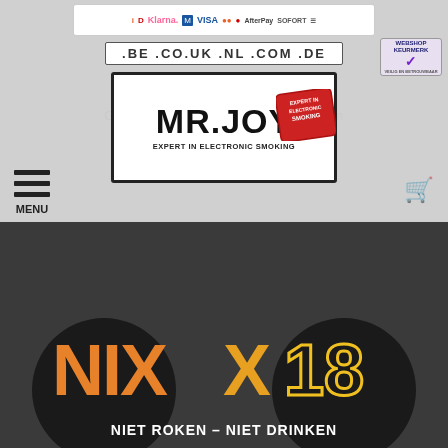[Figure (screenshot): Payment method logos: iDEAL, Klarna, Maestro, VISA, Mastercard, AfterPay, Sofort, and another payment logo]
.BE .CO.UK .NL .COM .DE
[Figure (logo): MR.JOY - EXPERT IN ELECTRONIC SMOKING logo with red stamp]
Om onze webshop te kunnen bezoeken dient u 18 jaar of ouder te zijn.
Bent u ouder dan 18 jaar?
Ja
Nee
[Figure (logo): NIX18 logo - circular black logo with orange NIX and yellow 18 text, tagline NIET ROKEN - NIET DRINKEN]